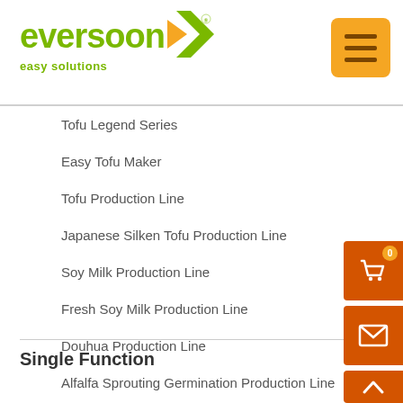eversoon easy solutions
Tofu Legend Series
Easy Tofu Maker
Tofu Production Line
Japanese Silken Tofu Production Line
Soy Milk Production Line
Fresh Soy Milk Production Line
Douhua Production Line
Alfalfa Sprouting Germination Production Line
Single Function